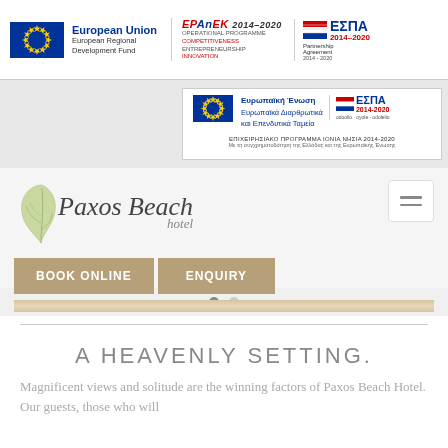[Figure (logo): EU funding logos banner: European Union European Regional Development Fund, EPAnEK 2014-2020 Operational Programme Competitiveness Entrepreneurship Innovation, ESPA 2014-2020 Partnership Agreement]
[Figure (logo): Second EU banner with Greek text: Ευρωπαϊκή Ένωση, Ευρωπαϊκά Διαρθρωτικά και Επενδυτικά Ταμεία, ΕΣΠΑ 2014-2020, ΕΠΙΧΕΙΡΗΣΙΑΚΟ ΠΡΟΓΡΑΜΜΑ ΙΟΝΙΑ ΝΗΣΙΑ 2014-2020]
[Figure (logo): Paxos Beach Hotel logo with olive leaf illustration]
BOOK ONLINE
ENQUIRY
A HEAVENLY SETTING.
Magnificent views and solitude are the winning factors of Paxos Beach Hotel. Our guests, those who will